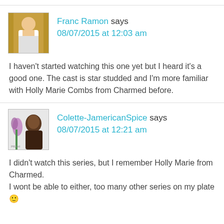Franc Ramon says 08/07/2015 at 12:03 am
I haven't started watching this one yet but I heard it's a good one. The cast is star studded and I'm more familiar with Holly Marie Combs from Charmed before.
Colette-JamericanSpice says 08/07/2015 at 12:21 am
I didn't watch this series, but I remember Holly Marie from Charmed.
I wont be able to either, too many other series on my plate 🙂